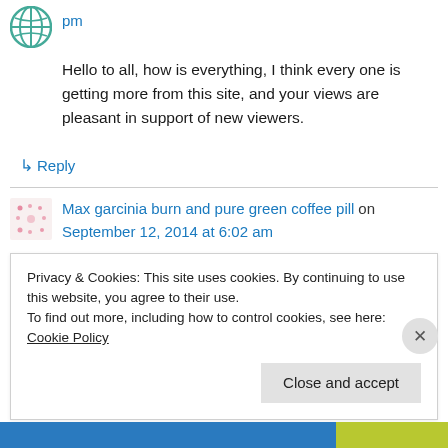pm
Hello to all, how is everything, I think every one is getting more from this site, and your views are pleasant in support of new viewers.
↳ Reply
Max garcinia burn and pure green coffee pill on September 12, 2014 at 6:02 am
Privacy & Cookies: This site uses cookies. By continuing to use this website, you agree to their use.
To find out more, including how to control cookies, see here: Cookie Policy
Close and accept